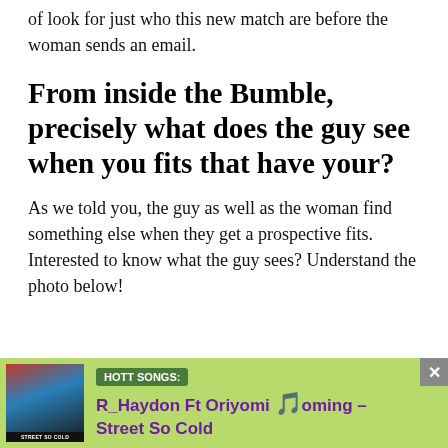of look for just who this new match are before the woman sends an email.
From inside the Bumble, precisely what does the guy see when you fits that have your?
As we told you, the guy as well as the woman find something else when they get a prospective fits. Interested to know what the guy sees? Understand the photo below!
[Figure (infographic): Advertisement banner with green background. Shows album art for 'Street So Cold' on the left, a 'HOTT SONGS:' tag, and text 'R_Haydon Ft Oriyomi Looming – Street So Cold' in purple with musical note emoji.]